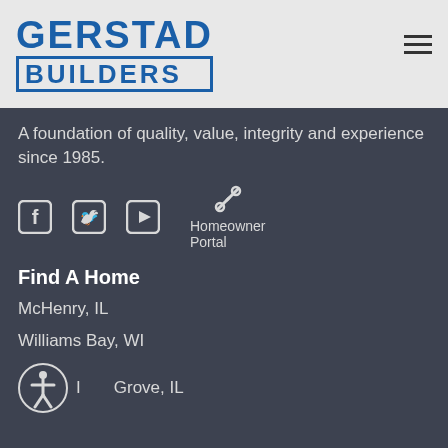[Figure (logo): Gerstad Builders logo with GERSTAD in large blue text above BUILDERS in a blue bordered rectangle, on a light gray background header]
A foundation of quality, value, integrity and experience since 1985.
[Figure (infographic): Social media icons row: Facebook, Twitter, YouTube icons, plus Homeowner Portal icon with wrench/tools symbol]
Find A Home
McHenry, IL
Williams Bay, WI
I[Accessibility icon] Grove, IL